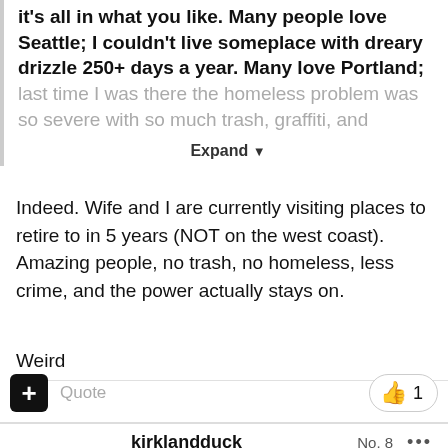it's all in what you like.  Many people love Seattle; I couldn't live someplace with dreary drizzle 250+ days a year.  Many love Portland; last time I was there the homeless problem was so severe with so much trash, graffiti, and
Expand
Indeed. Wife and I are currently visiting places to retire to in 5 years (NOT on the west coast). Amazing people, no trash, no homeless, less crime, and the power actually stays on.
Weird
Quote
1
kirklandduck
No. 8
[Figure (photo): Avatar of user kirklandduck showing a green/yellow masked figure]
On 5/7/2022 at 2:09 PM, shawnski said: